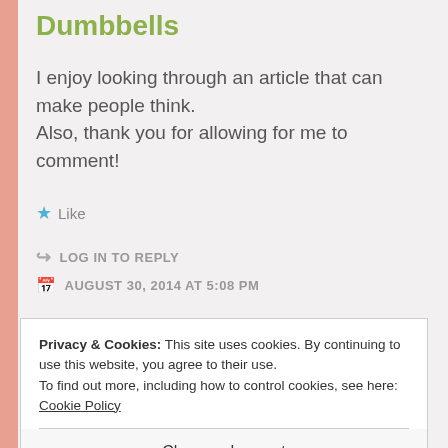Dumbbells
I enjoy looking through an article that can make people think.
Also, thank you for allowing for me to comment!
★ Like
↪ LOG IN TO REPLY
🗓 AUGUST 30, 2014 AT 5:08 PM
Privacy & Cookies: This site uses cookies. By continuing to use this website, you agree to their use.
To find out more, including how to control cookies, see here: Cookie Policy
Close and accept